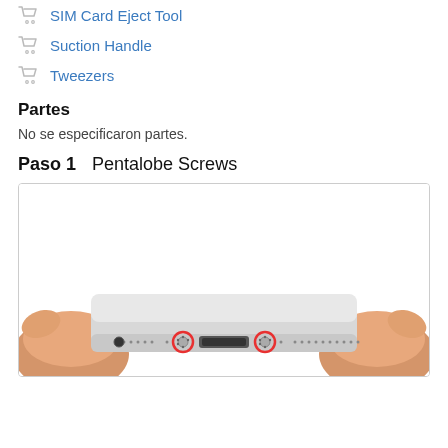SIM Card Eject Tool
Suction Handle
Tweezers
Partes
No se especificaron partes.
Paso 1    Pentalobe Screws
[Figure (photo): Bottom edge of an iPhone being held by two hands, showing the lightning port in the center, headphone jack on the left, speaker grilles, and two pentalobe screws highlighted with red circles on either side of the lightning port.]